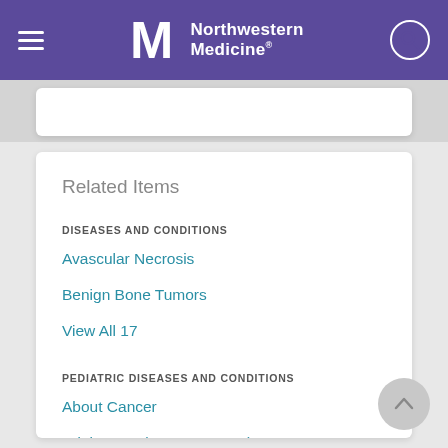Northwestern Medicine
Related Items
DISEASES AND CONDITIONS
Avascular Necrosis
Benign Bone Tumors
View All 17
PEDIATRIC DISEASES AND CONDITIONS
About Cancer
Adolescent (13 to 18 Years)
View All 50